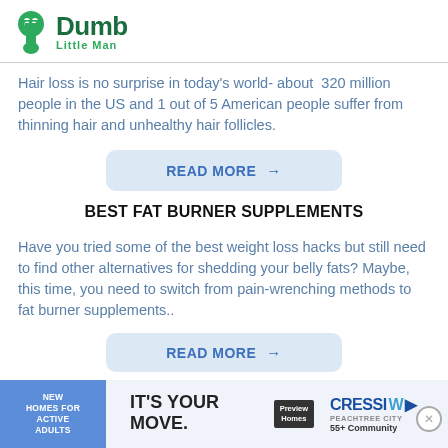Dumb Little Man
Hair loss is no surprise in today’s world- about 320 million people in the US and 1 out of 5 American people suffer from thinning hair and unhealthy hair follicles.
READ MORE →
BEST FAT BURNER SUPPLEMENTS
Have you tried some of the best weight loss hacks but still need to find other alternatives for shedding your belly fats? Maybe, this time, you need to switch from pain-wrenching methods to fat burner supplements..
READ MORE →
[Figure (other): Advertisement banner: New Homes for Active Adults - IT'S YOUR MOVE. CRESSWIND Peachtree City 55+ Community]